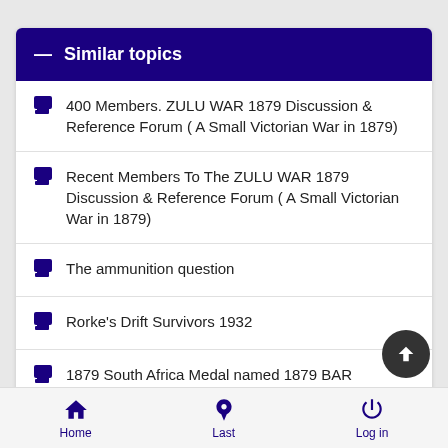Similar topics
400 Members. ZULU WAR 1879 Discussion & Reference Forum ( A Small Victorian War in 1879)
Recent Members To The ZULU WAR 1879 Discussion & Reference Forum ( A Small Victorian War in 1879)
The ammunition question
Rorke's Drift Survivors 1932
1879 South Africa Medal named 1879 BAR
Home  Last  Log in